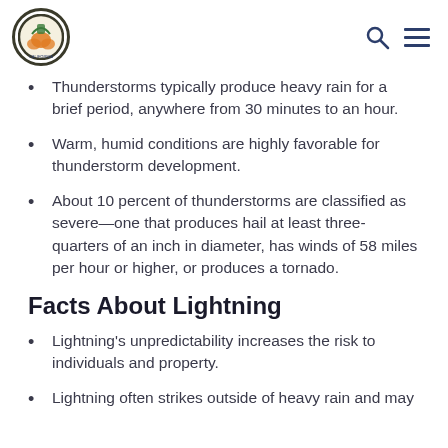County of Orange California – navigation header with logo, search, and menu icons
Thunderstorms typically produce heavy rain for a brief period, anywhere from 30 minutes to an hour.
Warm, humid conditions are highly favorable for thunderstorm development.
About 10 percent of thunderstorms are classified as severe—one that produces hail at least three-quarters of an inch in diameter, has winds of 58 miles per hour or higher, or produces a tornado.
Facts About Lightning
Lightning's unpredictability increases the risk to individuals and property.
Lightning often strikes outside of heavy rain and may